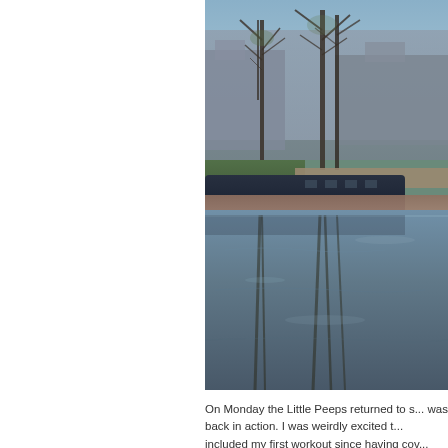[Figure (photo): Outdoor photograph of a canal scene with a narrowboat moored along the towpath. Bare winter trees are reflected in the still water below. Stone buildings are visible in the background. The sky is light blue. The photo is cropped on the right side.]
On Monday the Little Peeps returned to s... was back in action. I was weirdly excited t... included my first workout since having cov... minutes), followed by a 45 minute walk wi...